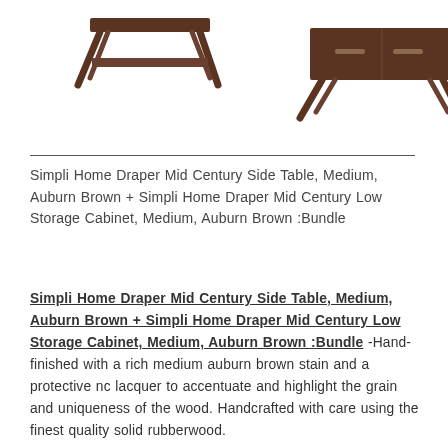[Figure (photo): Two dark brown mid-century wooden tables/furniture pieces on white background — a side table on the left and a low storage cabinet on the right, both with angled splayed legs in Auburn Brown finish.]
Simpli Home Draper Mid Century Side Table, Medium, Auburn Brown + Simpli Home Draper Mid Century Low Storage Cabinet, Medium, Auburn Brown :Bundle
Simpli Home Draper Mid Century Side Table, Medium, Auburn Brown + Simpli Home Draper Mid Century Low Storage Cabinet, Medium, Auburn Brown :Bundle -Hand-finished with a rich medium auburn brown stain and a protective nc lacquer to accentuate and highlight the grain and uniqueness of the wood. Handcrafted with care using the finest quality solid rubberwood.